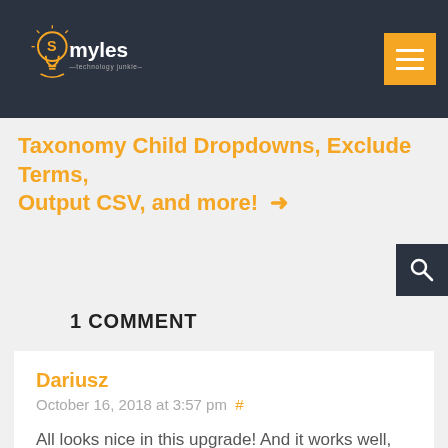Smyles - technology junkie
Taxonomy Child Dropdowns, Exclude Terms, Output CSV, and more! →
1 COMMENT
Dariusz
October 16, 2018 at 3:57 pm #
All looks nice in this upgrade! And it works well, thank you! <3